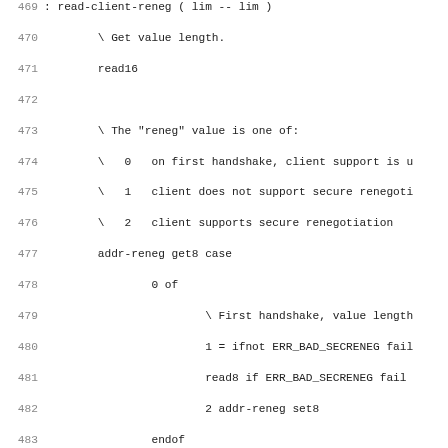[Figure (other): Source code listing in a monospace font showing Forth/stack-based code for read-client-reneg function, lines 469-501, with line numbers on the left.]